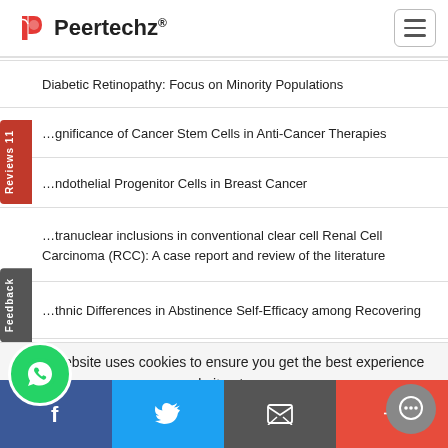Peertechz
Diabetic Retinopathy: Focus on Minority Populations
…gnificance of Cancer Stem Cells in Anti-Cancer Therapies
…ndothelial Progenitor Cells in Breast Cancer
…tranuclear inclusions in conventional clear cell Renal Cell Carcinoma (RCC): A case report and review of the literature
…thnic Differences in Abstinence Self-Efficacy among Recovering …
This website uses cookies to ensure you get the best experience on our website. Learn more
Yes, I understand